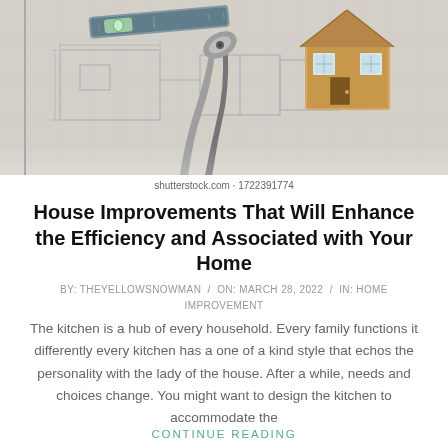[Figure (photo): Blueprint/architectural plan with construction tools (hammer, pliers, level) and a small wooden house model on top]
shutterstock.com · 1722391774
House Improvements That Will Enhance the Efficiency and Associated with Your Home
BY: THEYELLOWSNOWMAN / ON: MARCH 28, 2022 / IN: HOME IMPROVEMENT
The kitchen is a hub of every household. Every family functions it differently every kitchen has a one of a kind style that echos the personality with the lady of the house. After a while, needs and choices change. You might want to design the kitchen to accommodate the
CONTINUE READING